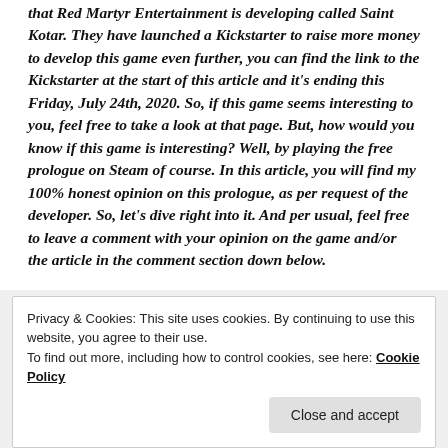that Red Martyr Entertainment is developing called Saint Kotar. They have launched a Kickstarter to raise more money to develop this game even further, you can find the link to the Kickstarter at the start of this article and it's ending this Friday, July 24th, 2020. So, if this game seems interesting to you, feel free to take a look at that page. But, how would you know if this game is interesting? Well, by playing the free prologue on Steam of course. In this article, you will find my 100% honest opinion on this prologue, as per request of the developer. So, let's dive right into it. And per usual, feel free to leave a comment with your opinion on the game and/or the article in the comment section down below.
Privacy & Cookies: This site uses cookies. By continuing to use this website, you agree to their use.
To find out more, including how to control cookies, see here: Cookie Policy